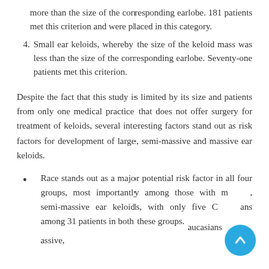more than the size of the corresponding earlobe. 181 patients met this criterion and were placed in this category.
Small ear keloids, whereby the size of the keloid mass was less than the size of the corresponding earlobe. Seventy-one patients met this criterion.
Despite the fact that this study is limited by its size and patients from only one medical practice that does not offer surgery for treatment of keloids, several interesting factors stand out as risk factors for development of large, semi-massive and massive ear keloids.
Race stands out as a major potential risk factor in all four groups, most importantly among those with massive, semi-massive ear keloids, with only five Caucasians among 31 patients in both these groups.